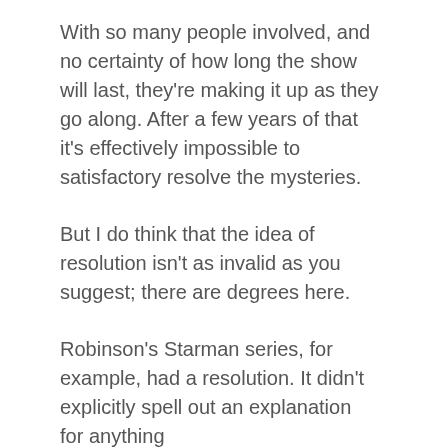With so many people involved, and no certainty of how long the show will last, they're making it up as they go along. After a few years of that it's effectively impossible to satisfactory resolve the mysteries.
But I do think that the idea of resolution isn't as invalid as you suggest; there are degrees here.
Robinson's Starman series, for example, had a resolution. It didn't explicitly spell out an explanation for anything